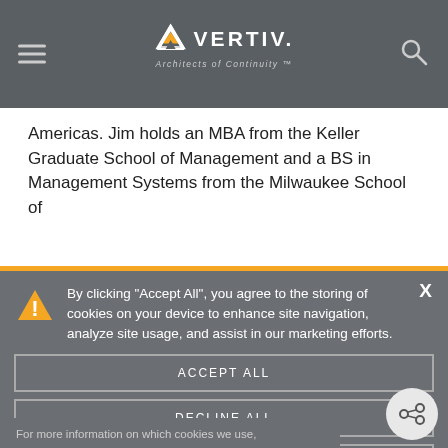Vertiv – Architects of Continuity
Americas. Jim holds an MBA from the Keller Graduate School of Management and a BS in Management Systems from the Milwaukee School of
[Figure (screenshot): Cookie consent banner with warning icon, cookie policy message, ACCEPT ALL, DECLINE ALL, MANAGE COOKIES buttons, and a 'For more information on which cookies we use, click here.' note. Dark gray background overlay.]
By clicking “Accept All”, you agree to the storing of cookies on your device to enhance site navigation, analyze site usage, and assist in our marketing efforts.
ACCEPT ALL
DECLINE ALL
MANAGE COOKIES
For more information on which cookies we use, click here.